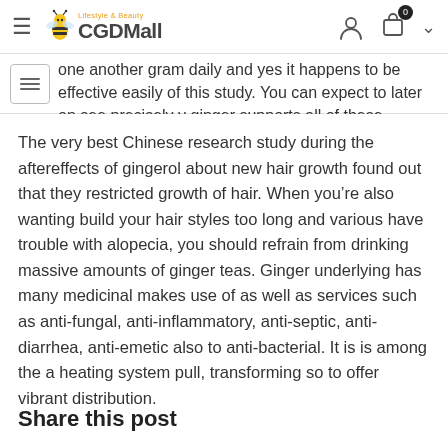CGDMall – Lifestyle & Beauty
one another gram daily and yes it happens to be effective easily of this study. You can expect to later on see precisely y ginger supports all of these excellent intestinal causes.
The very best Chinese research study during the aftereffects of gingerol about new hair growth found out that they restricted growth of hair. When you're also wanting build your hair styles too long and various have trouble with alopecia, you should refrain from drinking massive amounts of ginger teas. Ginger underlying has many medicinal makes use of as well as services such as anti-fungal, anti-inflammatory, anti-septic, anti-diarrhea, anti-emetic also to anti-bacterial. It is is among the a heating system pull, transforming so to offer vibrant distribution.
Share this post